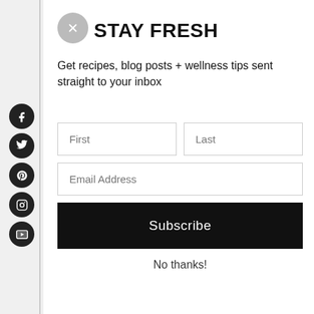[Figure (screenshot): Social media sidebar with circular icons for Facebook, Twitter, Pinterest, Instagram, and YouTube on dark background circles.]
STAY FRESH
Get recipes, blog posts + wellness tips sent straight to your inbox
[Figure (screenshot): Newsletter signup form with First and Last name fields, Email Address field, Subscribe button, and No thanks link.]
No thanks!